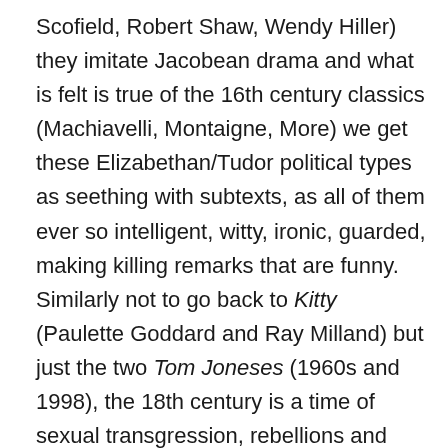Scofield, Robert Shaw, Wendy Hiller) they imitate Jacobean drama and what is felt is true of the 16th century classics (Machiavelli, Montaigne, More) we get these Elizabethan/Tudor political types as seething with subtexts, as all of them ever so intelligent, witty, ironic, guarded, making killing remarks that are funny. Similarly not to go back to Kitty (Paulette Goddard and Ray Milland) but just the two Tom Joneses (1960s and 1998), the 18th century is a time of sexual transgression, rebellions and riots, country life, manliness as building a world. The source here are also the 18th century novels, from Clarissa to Austen, and the French soft-corn porn too (who has not seen Stephen Frears's Les Liaisons Dangereuses with the smoldering eyes of John Malkovich), and recently movies centering on traditionally heroic masculine males. (When a person writes a novel set in the 19th century